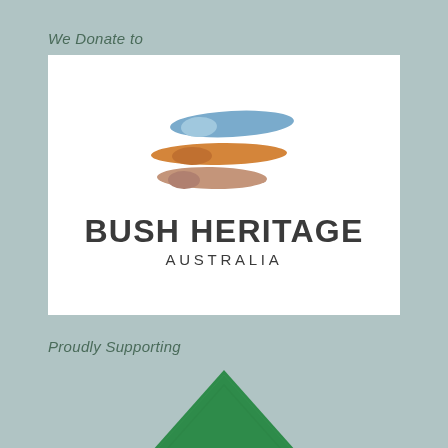We Donate to
[Figure (logo): Bush Heritage Australia logo with three horizontal paint stroke shapes (blue, orange, pink/tan) above the text BUSH HERITAGE AUSTRALIA on a white background]
Proudly Supporting
[Figure (illustration): Green triangle/mountain shape partially visible at the bottom of the page]